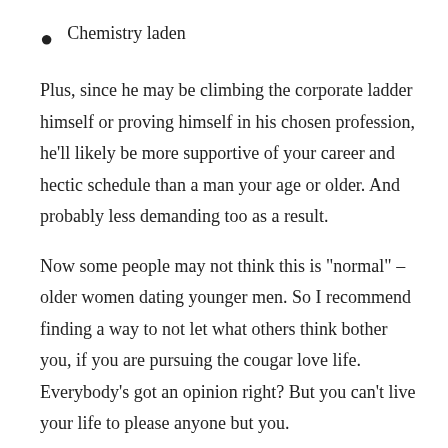Chemistry laden
Plus, since he may be climbing the corporate ladder himself or proving himself in his chosen profession, he'll likely be more supportive of your career and hectic schedule than a man your age or older. And probably less demanding too as a result.
Now some people may not think this is "normal" – older women dating younger men. So I recommend finding a way to not let what others think bother you, if you are pursuing the cougar love life. Everybody's got an opinion right? But you can't live your life to please anyone but you.
As for the younger men and what they think about it? Well,